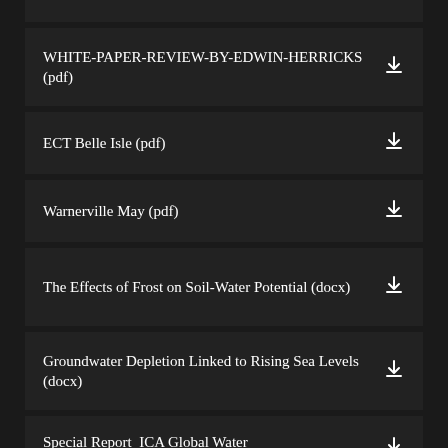WHITE-PAPER-REVIEW-BY-EDWIN-HERRICKS (pdf)
ECT Belle Isle (pdf)
Warnerville May (pdf)
The Effects of Frost on Soil-Water Potential (docx)
Groundwater Depletion Linked to Rising Sea Levels (docx)
Special Report_ICA Global Water Security (pdf)